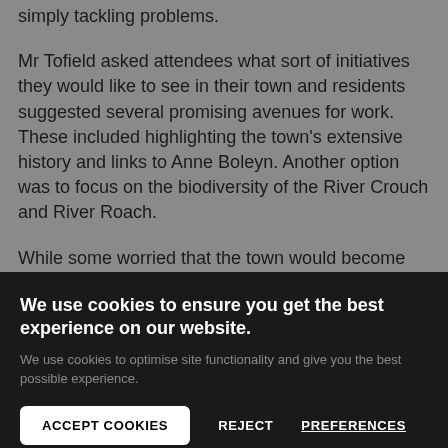simply tackling problems.
Mr Tofield asked attendees what sort of initiatives they would like to see in their town and residents suggested several promising avenues for work. These included highlighting the town's extensive history and links to Anne Boleyn. Another option was to focus on the biodiversity of the River Crouch and River Roach.
While some worried that the town would become busier, Mr Tofield said: "People in Rochford have said
We use cookies to ensure you get the best experience on our website.
We use cookies to optimise site functionality and give you the best possible experience.
ACCEPT COOKIES
REJECT
PREFERENCES